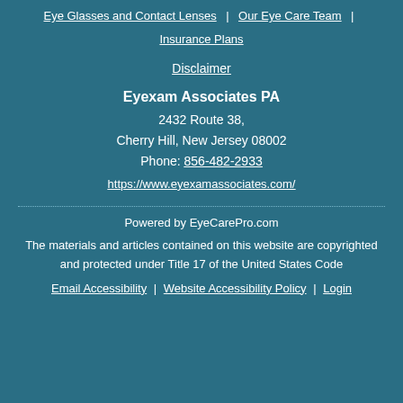Eye Glasses and Contact Lenses | Our Eye Care Team | Insurance Plans
Disclaimer
Eyexam Associates PA
2432 Route 38,
Cherry Hill, New Jersey 08002
Phone: 856-482-2933
https://www.eyexamassociates.com/
Powered by EyeCarePro.com
The materials and articles contained on this website are copyrighted and protected under Title 17 of the United States Code
Email Accessibility | Website Accessibility Policy | Login